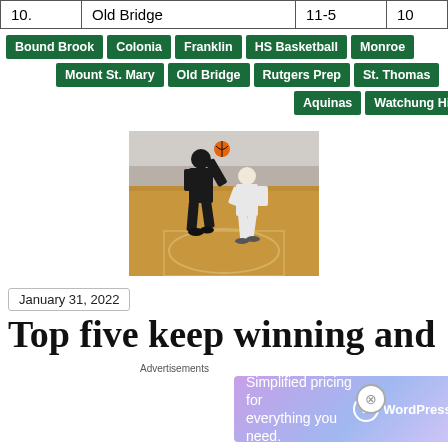|  |  |  |  |
| --- | --- | --- | --- |
| 10. | Old Bridge | 11-5 | 10 |
Bound Brook | Colonia | Franklin | HS Basketball | Monroe | Mount St. Mary | Old Bridge | Rutgers Prep | St. Thomas Aquinas | Watchung Hills
[Figure (photo): Two female basketball players during a game, one in black uniform reaching up, one in white uniform, on a gym court]
January 31, 2022
Top five keep winning and stay in place in Week 6 Pollery 8
Advertisements
[Figure (other): WordPress.com advertisement: Simplified pricing for everything you need.]